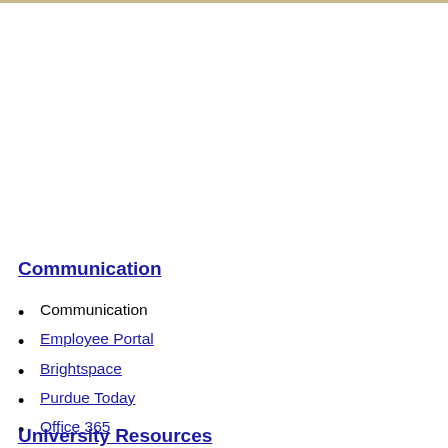Communication
Communication
Employee Portal
Brightspace
Purdue Today
Office 365
Vintage Lanard Anti Tank Gun G-217-04 The Ultra Corps 2000
ImpressArt Patchwork Texture 6mm Stamp / Punch / Die
University Resources